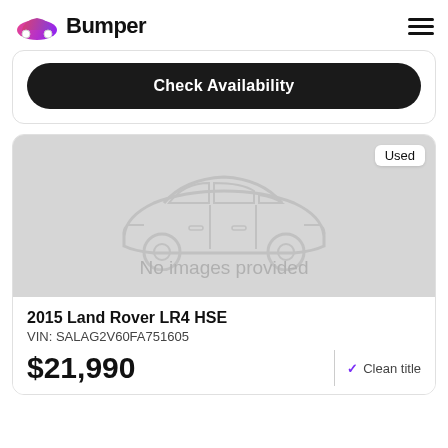Bumper
Check Availability
[Figure (illustration): Gray placeholder car silhouette on gray background with 'No images provided' text and 'Used' badge in top right corner]
2015 Land Rover LR4 HSE
VIN: SALAG2V60FA751605
$21,990
Clean title